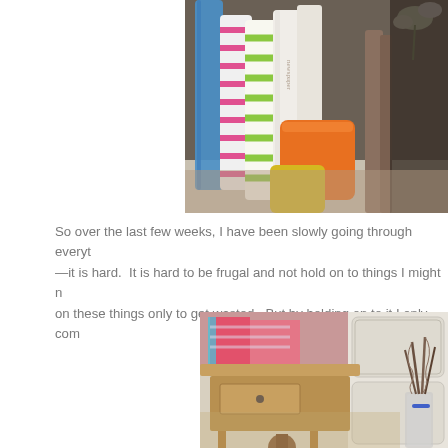[Figure (photo): Close-up photo of rolled wrapping paper tubes in various colors (blue, pink/white stripes, green/white stripes, white) standing upright in orange and yellow containers, with a flower and wooden frame visible in the background.]
So over the last few weeks, I have been slowly going through everyt—it is hard.  It is hard to be frugal and not hold on to things I might non these things only to get wasted.  But by holding on to it I only com
[Figure (photo): Photo of a wooden side table or desk with colorful fabric/wrapping items on top, a white painted dresser or cabinet in the background, and a glass container holding brown feathers tied with blue ribbon in the foreground.]